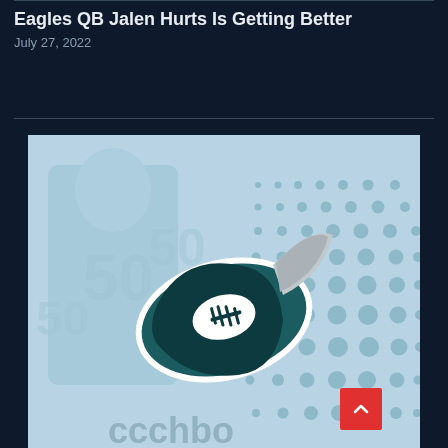Eagles QB Jalen Hurts Is Getting Better
July 27, 2022
[Figure (illustration): Philadelphia Eagles football logo — a stylized football shaped like an eye with teal and white coloring, overlaid on a faded image of an Eagles player wearing number 50, with a halftone dot pattern background in teal/blue tones. The word 'ccchbon' is partially visible at the bottom.]